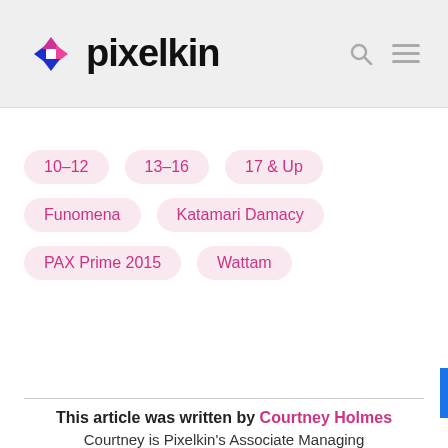pixelkin
10–12
13–16
17 & Up
Funomena
Katamari Damacy
PAX Prime 2015
Wattam
This article was written by Courtney Holmes
Courtney is Pixelkin's Associate Managing